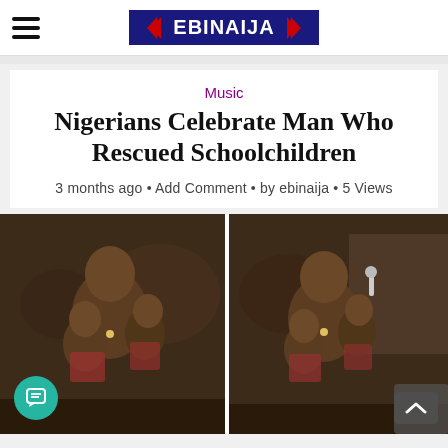EBINAIJA
Music
Nigerians Celebrate Man Who Rescued Schoolchildren
3 months ago • Add Comment • by ebinaija • 5 Views
[Figure (photo): Two side-by-side photos of a shirtless man holding and rescuing schoolchildren outdoors]